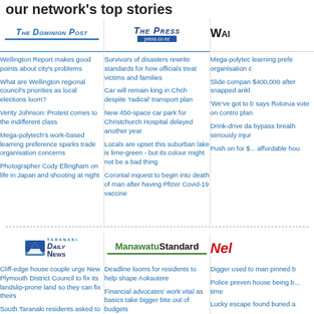our network's top stories
[Figure (logo): The Dominion Post logo]
Wellington Report makes good points about city's problems
What are Wellington regional council's priorities as local elections loom?
Verity Johnson: Protest comes to the indifferent class
Mega-polytech's work-based learning preference sparks trade organisation concerns
Photographer Cody Ellingham on life in Japan and shooting at night
[Figure (logo): The Press logo with press.co.nz]
Survivors of disasters rewrite standards for how officials treat victims and families
Car will remain king in Chch despite 'radical' transport plan
New 450-space car park for Christchurch Hospital delayed another year
Locals are upset this suburban lake is lime-green - but its colour might not be a bad thing
Coronial inquest to begin into death of man after having Pfizer Covid-19 vaccine
[Figure (logo): Wai... (partially visible logo)]
Mega-polytech learning preference organisation c...
Slide compan $400,000 after snapped ankl...
'We've got to b says Rotorua vote on contro plan
Drink-drive da bypass breath seriously injur...
Push on for $... affordable hou...
[Figure (logo): Taranaki Daily News logo]
Cliff-edge house couple urge New Plymouth District Council to fix its landslip-prone land so they can fix theirs
South Taranaki residents asked to boil water after E.coli test result
Man jailed for 12th drink-driving charge after getting caught three
[Figure (logo): Manawatu Standard logo]
Deadline looms for residents to help shape Aokautere
Financial advocates' work vital as basics take bigger bite out of budgets
MidCentral's Covid-19 cases drop back to levels of six months ago
Creative students get stamp of
[Figure (logo): Nel... (partially visible logo)]
Digger used to man pinned b...
Police preven house being b... time
Lucky escape found buried a...
Number of ro...